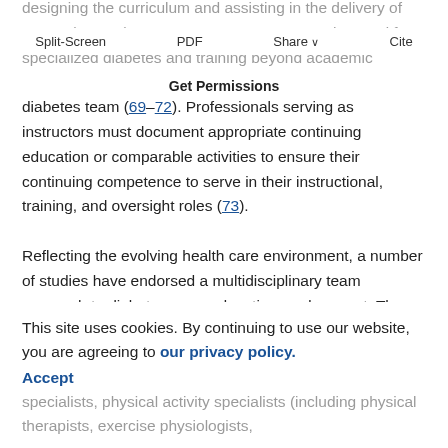designing the curriculum and assisting in the delivery of DSME (1–7,68). Expert consensus supports the need for specialized diabetes and training beyond academic preparation for the primary instructors on the diabetes team (69–72). Professionals serving as instructors must document appropriate continuing education or comparable activities to ensure their continuing competence to serve in their instructional, training, and oversight roles (73).
Split-Screen  PDF  Share  Cite
Get Permissions
Reflecting the evolving health care environment, a number of studies have endorsed a multidisciplinary team approach to diabetes care, education, and support. The disciplines that may be involved include, but are not
This site uses cookies. By continuing to use our website, you are agreeing to our privacy policy. Accept specialists, physical activity specialists (including physical therapists, exercise physiologists,